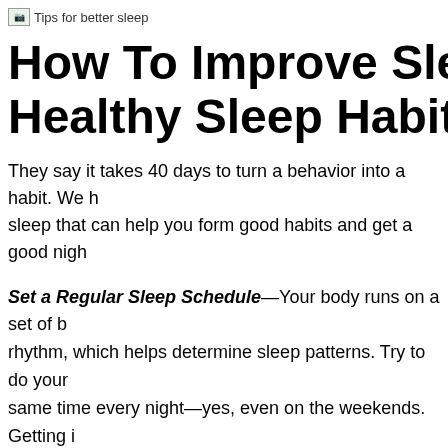[Figure (photo): Image with alt text: Tips for better sleep]
How To Improve Sleep: A Guide to Healthy Sleep Habits
They say it takes 40 days to turn a behavior into a habit. We have compiled a list of tips for better sleep that can help you form good habits and get a good night's sleep.
Set a Regular Sleep Schedule—Your body runs on a set of biological rhythms called the circadian rhythm, which helps determine sleep patterns. Try to do your best to go to bed at the same time every night—yes, even on the weekends. Getting into this habit can help support your natural circadian rhythm.
Create a Bedtime Routine—Your body runs on internal clocks. Do the same activities each night before bed. Choose activities that prepare your body and mind for sleep.